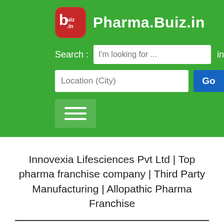[Figure (logo): Pharma.Buiz.in website logo with red icon showing 'b uiz.in' text and green header with site name]
Innovexia Lifesciences Pvt Ltd | Top pharma franchise company | Third Party Manufacturing | Allopathic Pharma Franchise